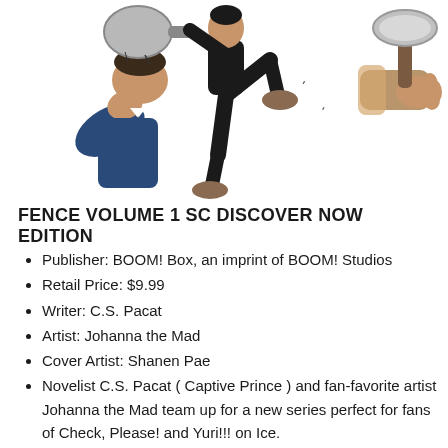[Figure (illustration): Manga/comic style illustration showing three figures: left figure in a suit being hit on the head with a frying pan, center figure in black doing a kick, right figure holding a frying pan. White background.]
FENCE VOLUME 1 SC DISCOVER NOW EDITION
Publisher: BOOM! Box, an imprint of BOOM! Studios
Retail Price: $9.99
Writer: C.S. Pacat
Artist: Johanna the Mad
Cover Artist: Shanen Pae
Novelist C.S. Pacat ( Captive Prince ) and fan-favorite artist Johanna the Mad team up for a new series perfect for fans of Check, Please! and Yuri!!! on Ice.
Nicholas Cox is determined to prove himself in the world of competitive fencing, and earn his place